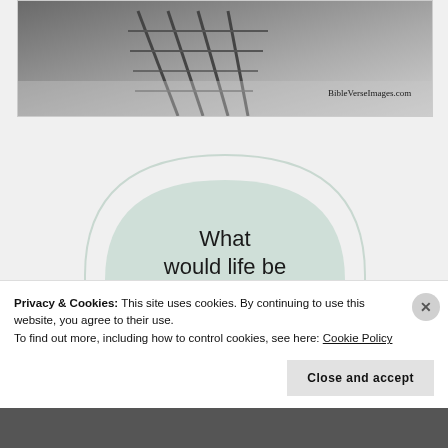[Figure (photo): A dock/pier over water with watermark text 'BibleVerseImages.com' in the bottom right corner. Grayscale/muted tones.]
[Figure (infographic): An arch-shaped card with a light mint/sage green background and a bold quote text reading: 'What would life be if we had no courage to attempt']
Privacy & Cookies: This site uses cookies. By continuing to use this website, you agree to their use.
To find out more, including how to control cookies, see here: Cookie Policy
Close and accept